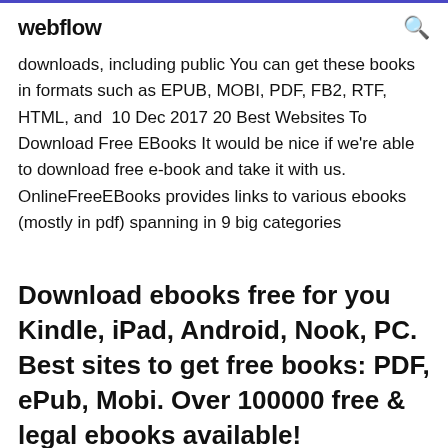webflow
downloads, including public You can get these books in formats such as EPUB, MOBI, PDF, FB2, RTF, HTML, and 10 Dec 2017 20 Best Websites To Download Free EBooks It would be nice if we're able to download free e-book and take it with us. OnlineFreeEBooks provides links to various ebooks (mostly in pdf) spanning in 9 big categories
Download ebooks free for you Kindle, iPad, Android, Nook, PC. Best sites to get free books: PDF, ePub, Mobi. Over 100000 free & legal ebooks available!